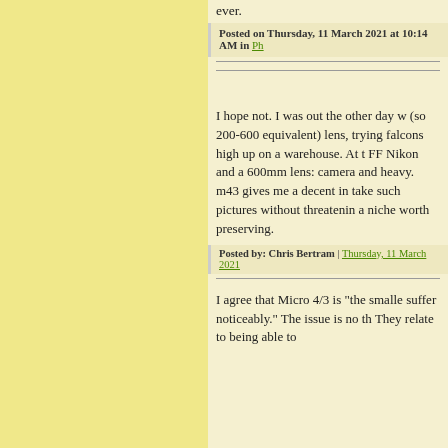ever.
Posted on Thursday, 11 March 2021 at 10:14 AM in Ph
I hope not. I was out the other day w (so 200-600 equivalent) lens, trying falcons high up on a warehouse. At t FF Nikon and a 600mm lens: camera and heavy. m43 gives me a decent in take such pictures without threatenin a niche worth preserving.
Posted by: Chris Bertram | Thursday, 11 March 2021
I agree that Micro 4/3 is "the smalle suffer noticeably." The issue is no th They relate to being able to